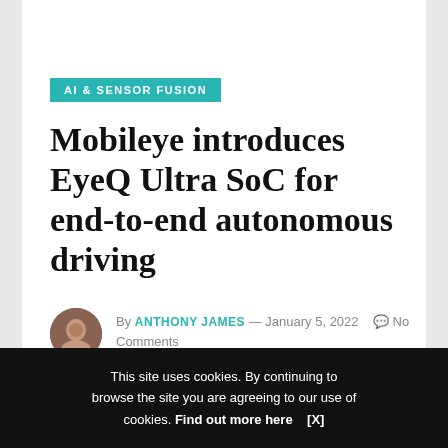AI & SENSOR FUSION
Mobileye introduces EyeQ Ultra SoC for end-to-end autonomous driving
By ANTHONY JAMES — January 5, 2022   No Comments
[Figure (other): Social share buttons: LinkedIn, Tweet, Share (Facebook)]
This site uses cookies. By continuing to browse the site you are agreeing to our use of cookies. Find out more here [X]